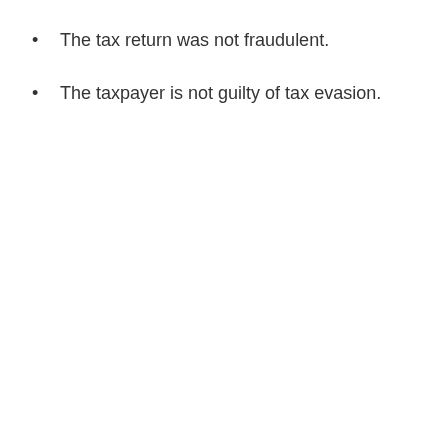The tax return was not fraudulent.
The taxpayer is not guilty of tax evasion.